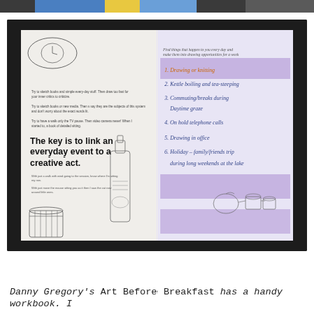[Figure (photo): Top strip image showing colorful abstract artwork or book cover, partially visible at the very top of the page.]
[Figure (photo): Photograph of an open book/workbook spread. The left page shows small printed text paragraphs and a large bold quote 'The key is to link an everyday event to a creative act.' with line drawings of a basket and a bottle. The right page shows handwritten notes in purple/blue ink on a purple-highlighted background listing activities numbered 1-6, including items like 'Drawing or knitting', 'Kettle boiling and tea-steeping', 'Commuting/breaks during Daytime graze', 'On hold telephone calls', 'Drawing in office', 'Holiday – family/friends trip during long weekends at the lake'. Small sketch drawings of cups/jars appear at the bottom right.]
Danny Gregory's Art Before Breakfast has a handy workbook. I